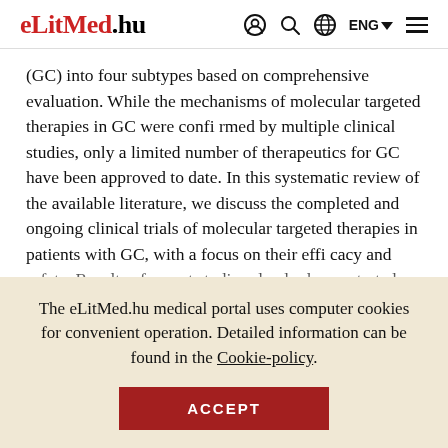eLitMed.hu | ENG
(GC) into four subtypes based on comprehensive evaluation. While the mechanisms of molecular targeted therapies in GC were confirmed by multiple clinical studies, only a limited number of therapeutics for GC have been approved to date. In this systematic review of the available literature, we discuss the completed and ongoing clinical trials of molecular targeted therapies in patients with GC, with a focus on their efficacy and safety. Results of recent studies clearly demonstrated
The eLitMed.hu medical portal uses computer cookies for convenient operation. Detailed information can be found in the Cookie-policy.
ACCEPT